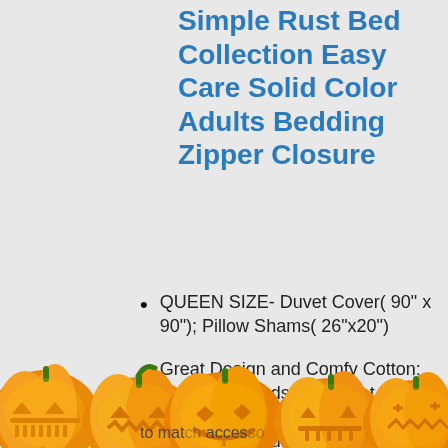Simple Rust Bed Collection Easy Care Solid Color Adults Bedding Zipper Closure
QUEEN SIZE- Duvet Cover( 90" x 90"); Pillow Shams( 26"x20")
Great Design and Comfy Cotton: Everyone needs comfort at home and it starts from your bedroom, specifically your bed. Jersey duvet cover ... solid ... to match accessories
[Figure (illustration): Row of five carved Halloween jack-o-lantern pumpkins with glowing expressions, overlapping the bottom of the product listing text.]